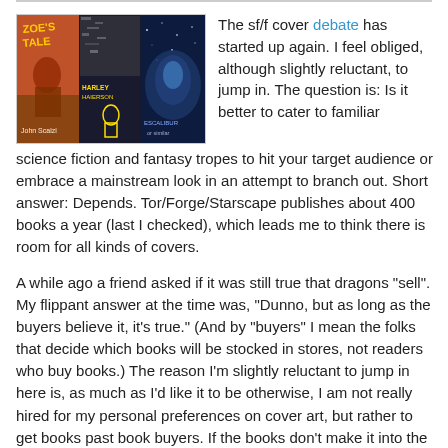[Figure (photo): A collage of science fiction/fantasy book covers including titles by John Scalzi and others, with colorful fantasy and sci-fi imagery]
The sf/f cover debate has started up again. I feel obliged, although slightly reluctant, to jump in. The question is: Is it better to cater to familiar science fiction and fantasy tropes to hit your target audience or embrace a mainstream look in an attempt to branch out. Short answer: Depends. Tor/Forge/Starscape publishes about 400 books a year (last I checked), which leads me to think there is room for all kinds of covers.
A while ago a friend asked if it was still true that dragons "sell". My flippant answer at the time was, "Dunno, but as long as the buyers believe it, it's true." (And by "buyers" I mean the folks that decide which books will be stocked in stores, not readers who buy books.) The reason I'm slightly reluctant to jump in here is, as much as I'd like it to be otherwise, I am not really hired for my personal preferences on cover art, but rather to get books past book buyers. If the books don't make it into the stores in the first place, readers can't buy them in the second place. I'm also a bit shy of the